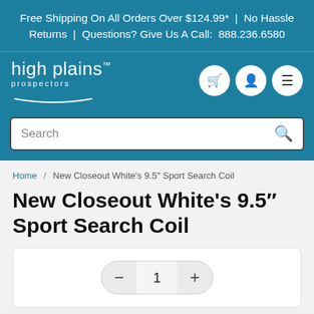Free Shipping On All Orders Over $124.99*  |  No Hassle Returns  |  Questions? Give Us A Call:  888.236.6580
[Figure (logo): High Plains Prospectors logo with wave underline and navigation icons (cart, user, menu) on teal background]
Search
Home / New Closeout White's 9.5" Sport Search Coil
New Closeout White's 9.5" Sport Search Coil
[Figure (other): Product quantity selector control showing minus button, quantity 1, and plus button]